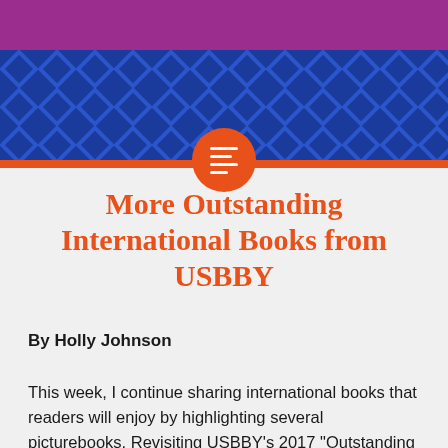[Figure (illustration): Purple header banner with blue diamond/argyle pattern band below it, an orange horizontal stripe, and an orange circle with menu/text icon in the center overlapping the stripe]
More Outstanding International Books from USBBY
By Holly Johnson
This week, I continue sharing international books that readers will enjoy by highlighting several picturebooks. Revisiting USBBY’s 2017 “Outstanding International Books,” I want to point out several